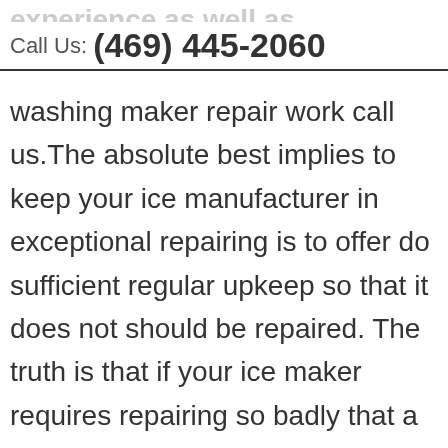experience as well as proficiency of experience. For specialist, experienced
Call Us: (469) 445-2060
washing maker repair work call us. The absolute best implies to keep your ice manufacturer in exceptional repairing is to offer do sufficient regular upkeep so that it does not should be repaired. The truth is that if your ice maker requires repairing so badly that a repair service is required your finest course of action is to call us. In fact, the repair work of an Ice Producer is not a work that is best matched for the normal home owner, in